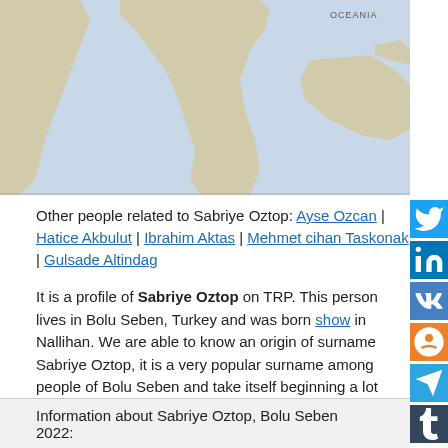[Figure (map): World map showing geographic overview with blue ocean and light land masses, partial view of continents including part of South America on left and Oceania label on right.]
Other people related to Sabriye Oztop: Ayse Ozcan | Hatice Akbulut | Ibrahim Aktas | Mehmet cihan Taskonak | Gulsade Altindag
It is a profile of Sabriye Oztop on TRP. This person lives in Bolu Seben, Turkey and was born show in Nallihan. We are able to know an origin of surname Sabriye Oztop, it is a very popular surname among people of Bolu Seben and take itself beginning a lot years ago. We can see a location of Sabriye Oztop on the map. For more information, visit the site or send request to contacts, we can use as well as contact box. Its contact method and full information is above.
Information about Sabriye Oztop, Bolu Seben 2022: